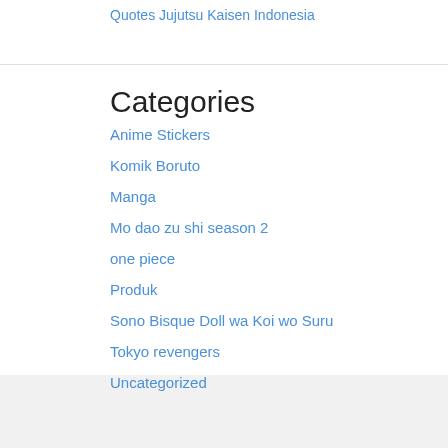Quotes Jujutsu Kaisen Indonesia
Categories
Anime Stickers
Komik Boruto
Manga
Mo dao zu shi season 2
one piece
Produk
Sono Bisque Doll wa Koi wo Suru
Tokyo revengers
Uncategorized